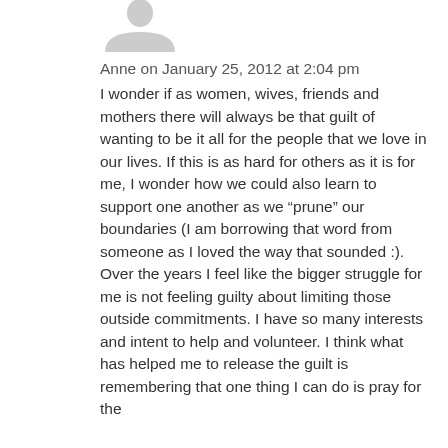[Figure (illustration): Gray silhouette avatar icon of a person (head and shoulders)]
Anne on January 25, 2012 at 2:04 pm
I wonder if as women, wives, friends and mothers there will always be that guilt of wanting to be it all for the people that we love in our lives. If this is as hard for others as it is for me, I wonder how we could also learn to support one another as we “prune” our boundaries (I am borrowing that word from someone as I loved the way that sounded :). Over the years I feel like the bigger struggle for me is not feeling guilty about limiting those outside commitments. I have so many interests and intent to help and volunteer. I think what has helped me to release the guilt is remembering that one thing I can do is pray for the